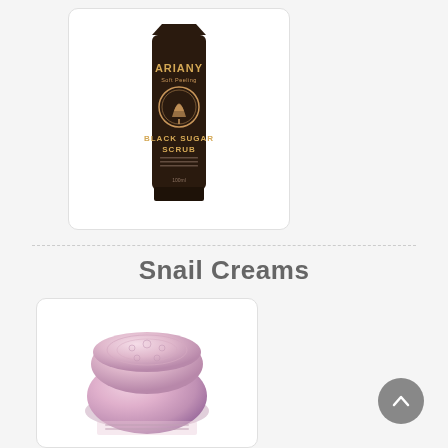[Figure (photo): Ariany Black Sugar Scrub product in a dark brown tube with gold logo and text]
Snail Creams
[Figure (photo): Pink metallic round snail cream jar with ornate floral lid pattern, partially visible]